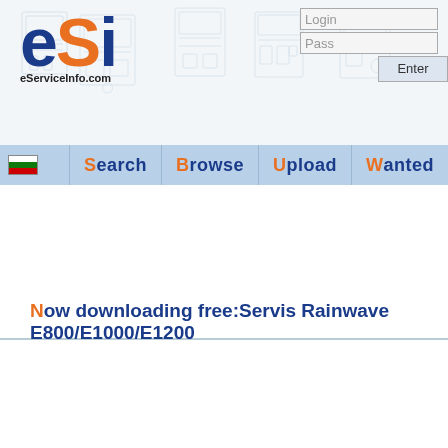[Figure (logo): eSI eServiceInfo.com logo with schematic background images strip]
Login
Pass
Enter
Schematics 4 Free
° register ° send pass
Search Browse Upload Wanted
Now downloading free:Servis Rainwave E800/E1000/E1200